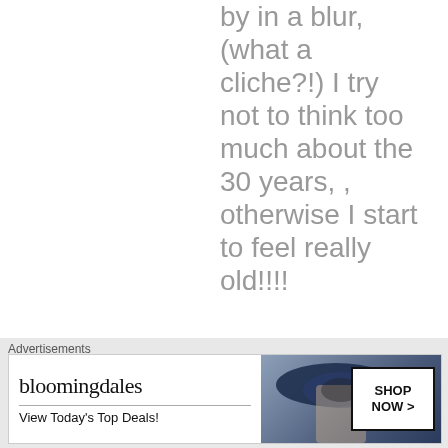by in a blur, (what a cliche?!) I try not to think too much about the 30 years, , otherwise I start to feel really old!!!!
★ Like
[Figure (other): Close/dismiss button (circle with X)]
Advertisements
[Figure (other): Bloomingdales advertisement banner: 'bloomingdales / View Today's Top Deals!' with a woman in a hat and SHOP NOW > button]